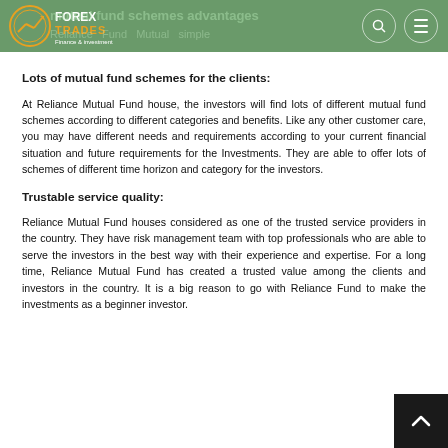FOREX TRADES Finance & investment
Lots of mutual fund schemes for the clients:
At Reliance Mutual Fund house, the investors will find lots of different mutual fund schemes according to different categories and benefits. Like any other customer care, you may have different needs and requirements according to your current financial situation and future requirements for the Investments. They are able to offer lots of schemes of different time horizon and category for the investors.
Trustable service quality:
Reliance Mutual Fund houses considered as one of the trusted service providers in the country. They have risk management team with top professionals who are able to serve the investors in the best way with their experience and expertise. For a long time, Reliance Mutual Fund has created a trusted value among the clients and investors in the country. It is a big reason to go with Reliance Fund to make the investments as a beginner investor.